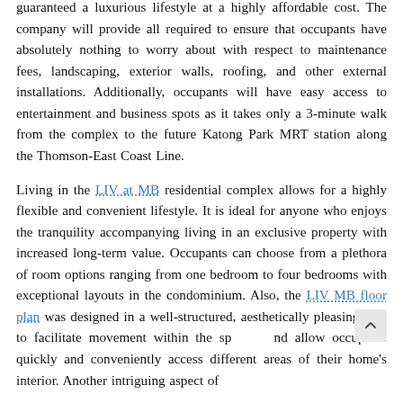guaranteed a luxurious lifestyle at a highly affordable cost. The company will provide all required to ensure that occupants have absolutely nothing to worry about with respect to maintenance fees, landscaping, exterior walls, roofing, and other external installations. Additionally, occupants will have easy access to entertainment and business spots as it takes only a 3-minute walk from the complex to the future Katong Park MRT station along the Thomson-East Coast Line.
Living in the LIV at MB residential complex allows for a highly flexible and convenient lifestyle. It is ideal for anyone who enjoys the tranquility accompanying living in an exclusive property with increased long-term value. Occupants can choose from a plethora of room options ranging from one bedroom to four bedrooms with exceptional layouts in the condominium. Also, the LIV MB floor plan was designed in a well-structured, aesthetically pleasing way to facilitate movement within the space and allow occupants quickly and conveniently access different areas of their home's interior. Another intriguing aspect of